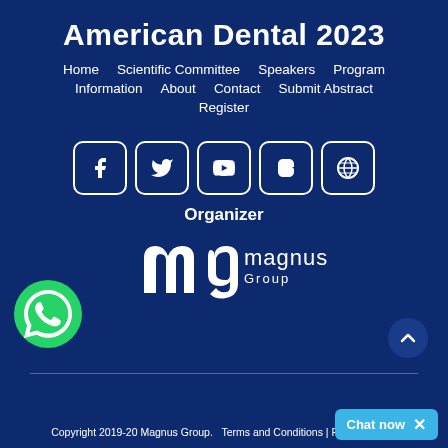American Dental 2023
Home   Scientific Committee   Speakers   Program
Information   About   Contact   Submit Abstract
Register
[Figure (other): Social media icons: Facebook, Twitter, YouTube, Blogger, WordPress — white icons in rounded square borders]
Organizer
[Figure (logo): Magnus Group logo — stylized 'mg' monogram with wordmark 'magnus Group' in white on dark blue background]
[Figure (other): WhatsApp green circular button icon on left side]
[Figure (other): Scroll-to-top dark blue circle button with upward chevron arrow]
Copyright 2019-20 Magnus Group.   Terms and Conditions | Privacy Policy
[Figure (other): Chat now button in cyan/light blue with X close icon]